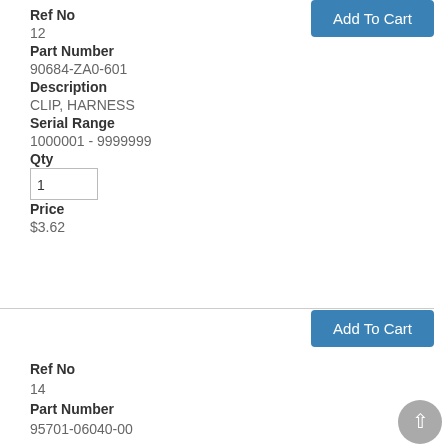Add To Cart
Ref No
12
Part Number
90684-ZA0-601
Description
CLIP, HARNESS
Serial Range
1000001 - 9999999
Qty
1
Price
$3.62
Add To Cart
Ref No
14
Part Number
95701-06040-00